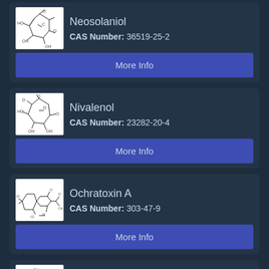[Figure (illustration): Chemical structure of Neosolaniol]
Neosolaniol
CAS Number: 36519-25-2
More Info
[Figure (illustration): Chemical structure of Nivalenol]
Nivalenol
CAS Number: 23282-20-4
More Info
[Figure (illustration): Chemical structure of Ochratoxin A]
Ochratoxin A
CAS Number: 303-47-9
More Info
[Figure (illustration): Chemical structure of Patulin]
Patulin
CAS Number: 149-29-1